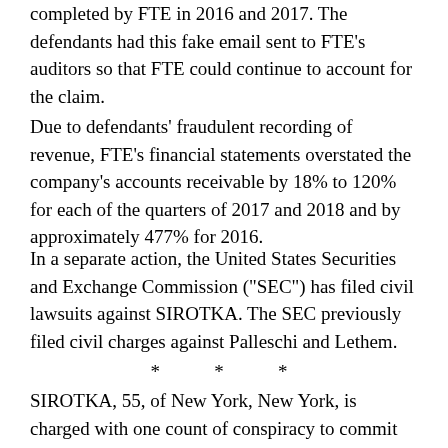completed by FTE in 2016 and 2017. The defendants had this fake email sent to FTE’s auditors so that FTE could continue to account for the claim.
Due to defendants’ fraudulent recording of revenue, FTE’s financial statements overstated the company’s accounts receivable by 18% to 120% for each of the quarters of 2017 and 2018 and by approximately 477% for 2016.
In a separate action, the United States Securities and Exchange Commission (“SEC”) has filed civil lawsuits against SIROTKA. The SEC previously filed civil charges against Palleschi and Lethem.
* * *
SIROTKA, 55, of New York, New York, is charged with one count of conspiracy to commit securities fraud, wire fraud, misrepresentation in SEC filings and inappropriate influence